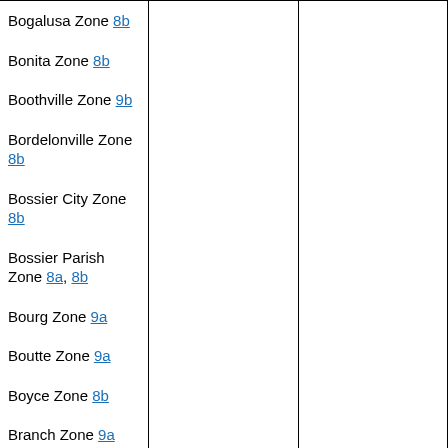Bogalusa Zone 8b
Bonita Zone 8b
Boothville Zone 9b
Bordelonville Zone 8b
Bossier City Zone 8b
Bossier Parish Zone 8a, 8b
Bourg Zone 9a
Boutte Zone 9a
Boyce Zone 8b
Branch Zone 9a
Breaux Bridge Zone 9a
Bridge City Zone 9b
Broussard Zone 9a